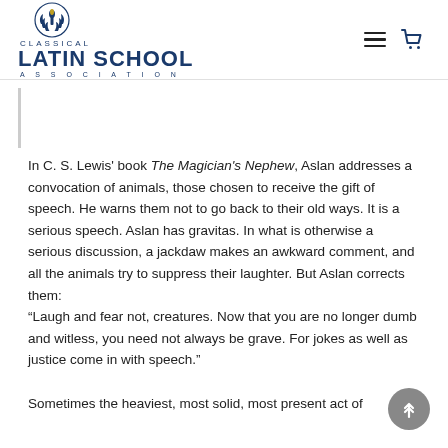Classical Latin School Association
In C. S. Lewis' book The Magician's Nephew, Aslan addresses a convocation of animals, those chosen to receive the gift of speech. He warns them not to go back to their old ways. It is a serious speech. Aslan has gravitas. In what is otherwise a serious discussion, a jackdaw makes an awkward comment, and all the animals try to suppress their laughter. But Aslan corrects them: “Laugh and fear not, creatures. Now that you are no longer dumb and witless, you need not always be grave. For jokes as well as justice come in with speech.” Sometimes the heaviest, most solid, most present act of